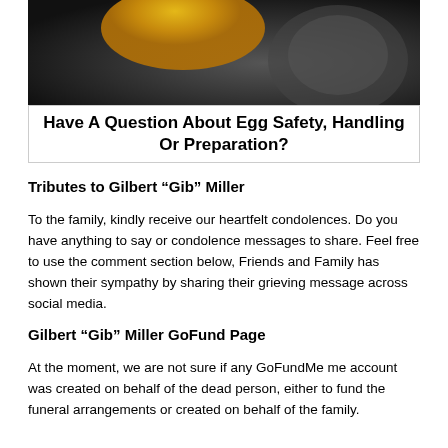[Figure (photo): Close-up photo of what appears to be an egg or fruit with yellow/gold top and dark gray textured surface]
Have A Question About Egg Safety, Handling Or Preparation?
Tributes to Gilbert “Gib” Miller
To the family, kindly receive our heartfelt condolences. Do you have anything to say or condolence messages to share. Feel free to use the comment section below, Friends and Family has shown their sympathy by sharing their grieving message across social media.
Gilbert “Gib” Miller GoFund Page
At the moment, we are not sure if any GoFundMe me account was created on behalf of the dead person, either to fund the funeral arrangements or created on behalf of the family.